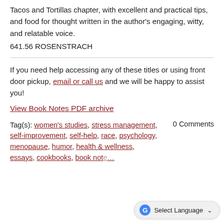Tacos and Tortillas chapter, with excellent and practical tips, and food for thought written in the author's engaging, witty, and relatable voice.
641.56 ROSENSTRACH
If you need help accessing any of these titles or using front door pickup, email or call us and we will be happy to assist you!
View Book Notes PDF archive
Tag(s): women's studies, stress management, self-improvement, self-help, race, psychology, menopause, humor, health & wellness, essays, cookbooks, book notes
0 Comments